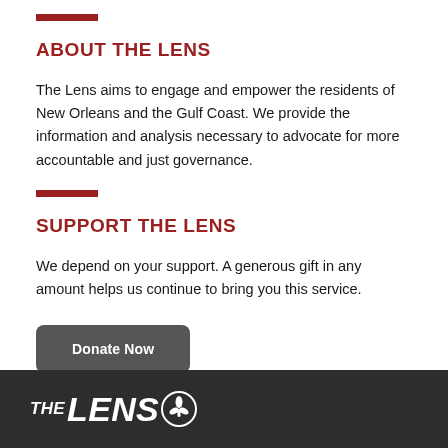ABOUT THE LENS
The Lens aims to engage and empower the residents of New Orleans and the Gulf Coast. We provide the information and analysis necessary to advocate for more accountable and just governance.
SUPPORT THE LENS
We depend on your support. A generous gift in any amount helps us continue to bring you this service.
Donate Now
THE LENS